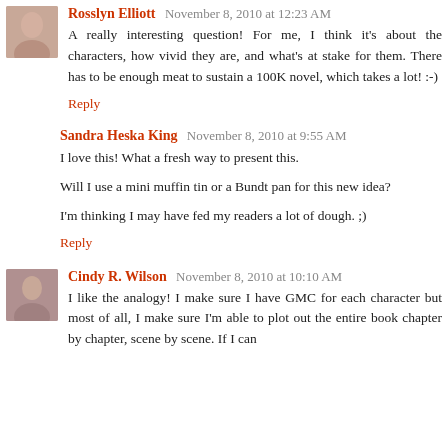Rosslyn Elliott  November 8, 2010 at 12:23 AM
A really interesting question! For me, I think it's about the characters, how vivid they are, and what's at stake for them. There has to be enough meat to sustain a 100K novel, which takes a lot! :-)
Reply
Sandra Heska King  November 8, 2010 at 9:55 AM
I love this! What a fresh way to present this.
Will I use a mini muffin tin or a Bundt pan for this new idea?
I'm thinking I may have fed my readers a lot of dough. ;)
Reply
Cindy R. Wilson  November 8, 2010 at 10:10 AM
I like the analogy! I make sure I have GMC for each character but most of all, I make sure I'm able to plot out the entire book chapter by chapter, scene by scene. If I can